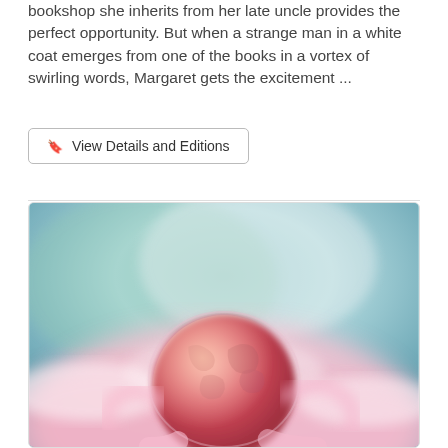bookshop she inherits from her late uncle provides the perfect opportunity. But when a strange man in a white coat emerges from one of the books in a vortex of swirling words, Margaret gets the excitement ...
🔖 View Details and Editions
[Figure (photo): A surreal photo of a pink globe/Earth wrapped in soft pink and white cloud-like wisps, with a teal/blue gradient background at the top.]